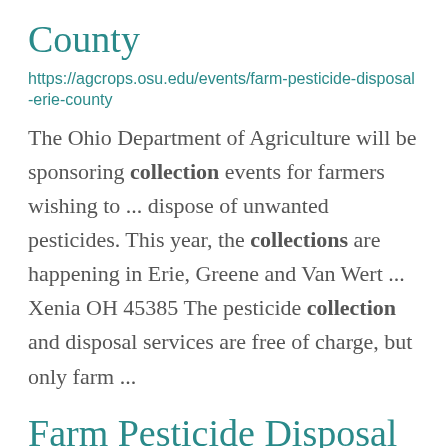County
https://agcrops.osu.edu/events/farm-pesticide-disposal-erie-county
The Ohio Department of Agriculture will be sponsoring collection events for farmers wishing to ... dispose of unwanted pesticides. This year, the collections are happening in Erie, Greene and Van Wert ... Xenia OH 45385 The pesticide collection and disposal services are free of charge, but  only farm ...
Farm Pesticide Disposal at Van Wert County